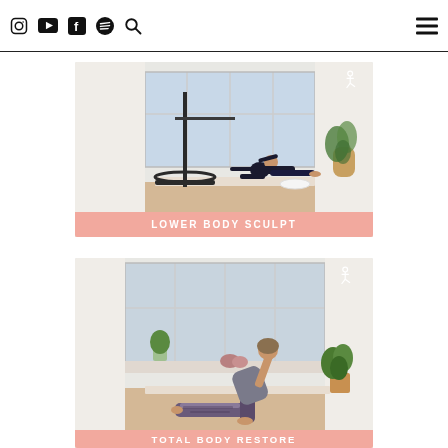Navigation header with social/media icons and hamburger menu
[Figure (photo): Fitness studio photo showing a woman in black athletic wear doing a side-lying leg lift exercise on a mat. Behind her is a barre/pilates apparatus, a large window, and a potted palm plant. Pink banner at bottom reads LOWER BODY SCULPT. White dancer logo icon in upper right corner.]
LOWER BODY SCULPT
[Figure (photo): Fitness studio photo showing a woman in patterned leggings doing a side plank or warrior pose on a yoga mat. Behind her is a large window, small plants, and a wooden stool with plant. Pink banner at bottom reads TOTAL BODY RESTORE. White dancer logo icon in upper right corner.]
TOTAL BODY RESTORE